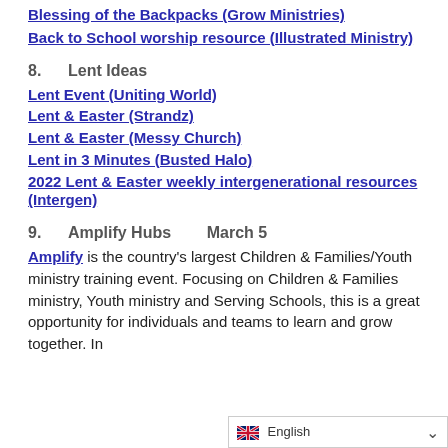Blessing of the Backpacks (Grow Ministries)
Back to School worship resource (Illustrated Ministry)
8.      Lent Ideas
Lent Event (Uniting World)
Lent & Easter (Strandz)
Lent & Easter (Messy Church)
Lent in 3 Minutes (Busted Halo)
2022 Lent & Easter weekly intergenerational resources (Intergen)
9.      Amplify Hubs         March 5
Amplify is the country's largest Children & Families/Youth ministry training event. Focusing on Children & Families ministry, Youth ministry and Serving Schools, this is a great opportunity for individuals and teams to learn and grow together. In 2021 it was reimagined with...
English